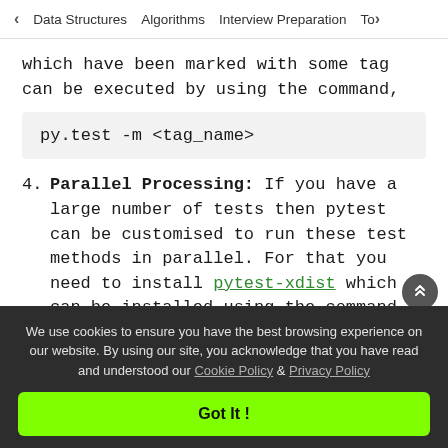< Data Structures   Algorithms   Interview Preparation   To>
which have been marked with some tag can be executed by using the command,
py.test -m <tag_name>
4. Parallel Processing: If you have a large number of tests then pytest can be customised to run these test methods in parallel. For that you need to install pytest-xdist which can be installed using the command,
pip install pytest-xdist
We use cookies to ensure you have the best browsing experience on our website. By using our site, you acknowledge that you have read and understood our Cookie Policy & Privacy Policy
Got It !